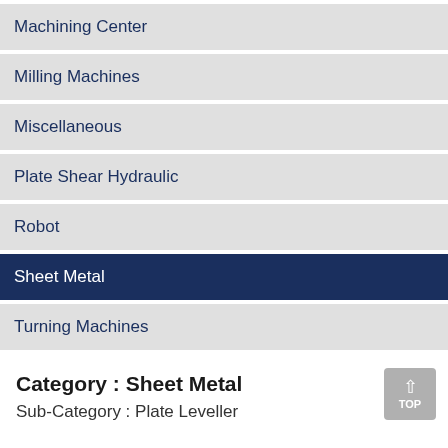Machining Center
Milling Machines
Miscellaneous
Plate Shear Hydraulic
Robot
Sheet Metal
Turning Machines
Category : Sheet Metal
Sub-Category : Plate Leveller